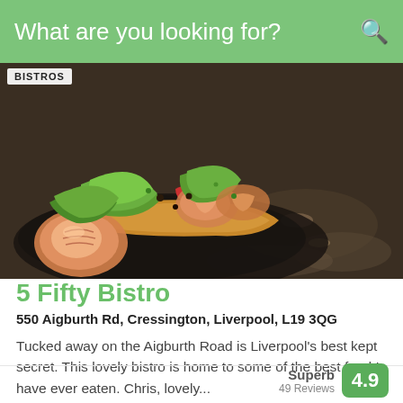What are you looking for?
[Figure (photo): Close-up photo of food — prawns/shrimp with lettuce and garnishes on a dark plate/shell, with text overlay 'BISTROS']
5 Fifty Bistro
550 Aigburth Rd, Cressington, Liverpool, L19 3QG
Tucked away on the Aigburth Road is Liverpool's best kept secret. This lovely bistro is home to some of the best food I have ever eaten. Chris, lovely...
0151 427 6747
Order online
Superb 49 Reviews 4.9